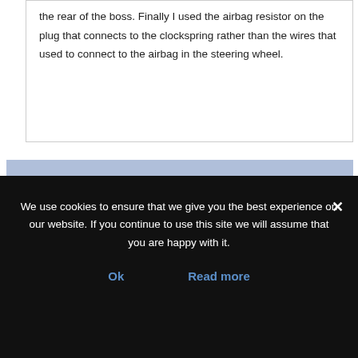the rear of the boss. Finally I used the airbag resistor on the plug that connects to the clockspring rather than the wires that used to connect to the airbag in the steering wheel.
You must be logged in to reply to this topic.
Username:
We use cookies to ensure that we give you the best experience on our website. If you continue to use this site we will assume that you are happy with it.